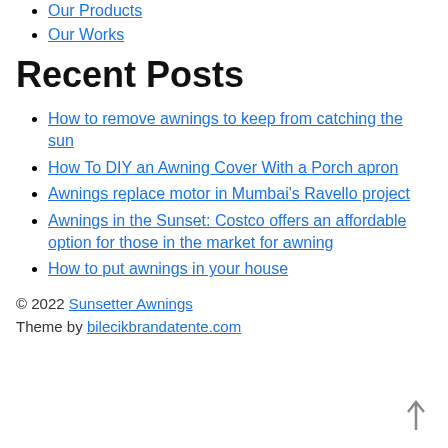Our Products
Our Works
Recent Posts
How to remove awnings to keep from catching the sun
How To DIY an Awning Cover With a Porch apron
Awnings replace motor in Mumbai's Ravello project
Awnings in the Sunset: Costco offers an affordable option for those in the market for awning
How to put awnings in your house
© 2022 Sunsetter Awnings
Theme by bilecikbrandatente.com